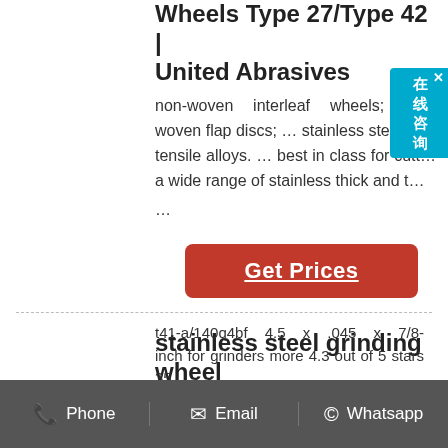Wheels Type 27/Type 42 | United Abrasives
non-woven interleaf wheels; non-woven flap discs; ... stainless steel, h... tensile alloys. ... best in class for cutt... a wide range of stainless thick and t... ...
Get Prices
stainless steel grinding wheel
cut-off wheel, b, 50-pack cutting wheels double reinforced fiber flat grinding wheels 35 stainless...
t41-a/140q4bf 4.5 x .045 x 7/8-inch for grinders more 4.3 out of 5 stars 35
Phone   Email   Whatsapp